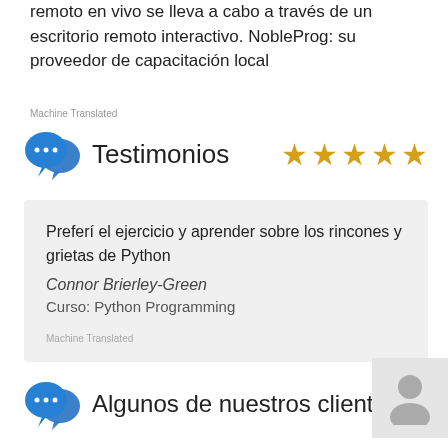remoto en vivo se lleva a cabo a través de un escritorio remoto interactivo. NobleProg: su proveedor de capacitación local
Machine Translated
Testimonios
[Figure (other): 5 gold stars rating]
Preferí el ejercicio y aprender sobre los rincones y grietas de Python
Connor Brierley-Green
Curso: Python Programming
Machine Translated
Algunos de nuestros clientes
[Figure (illustration): Person silhouette avatar icon]